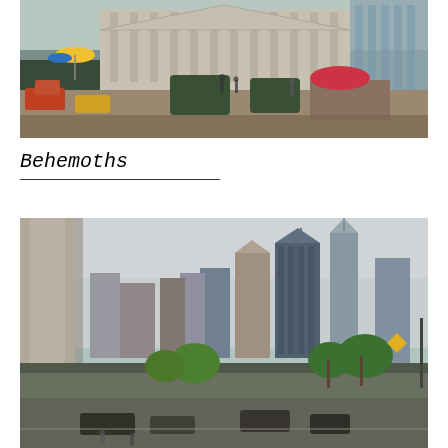[Figure (photo): Street-level photograph of an urban plaza in front of a large neoclassical building. Colorful umbrella visible on the left, pedestrians walking, green hedges and flower planters in the foreground, large glass-facade building reflected on the right.]
Behemoths
[Figure (photo): City skyline photograph taken from street level beside a large stone column on the left. Multiple tall skyscrapers visible including One World Trade Center, green trees lining the street, cars and pedestrians below, overcast sky.]